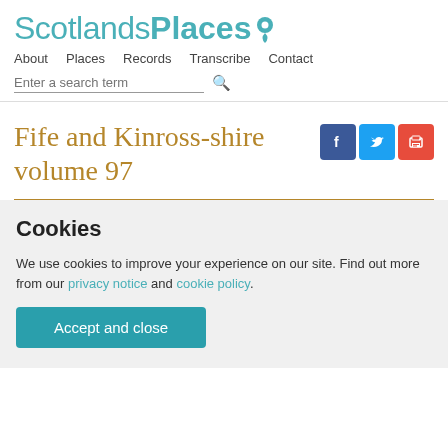Scotlands Places — About  Places  Records  Transcribe  Contact
Fife and Kinross-shire volume 97
Cookies
We use cookies to improve your experience on our site. Find out more from our privacy notice and cookie policy.
Accept and close